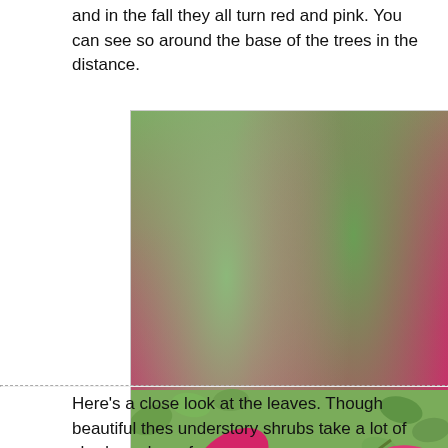and in the fall they all turn red and pink. You can see so around the base of the trees in the distance.
[Figure (photo): Close-up photograph of burning bush (Euonymus alatus) plant with vivid magenta/red autumn leaves and small pale berries on a branch, with green foliage visible in the background.]
Here's a close look at the leaves. Though beautiful thes understory shrubs take a lot of shade and can form mor